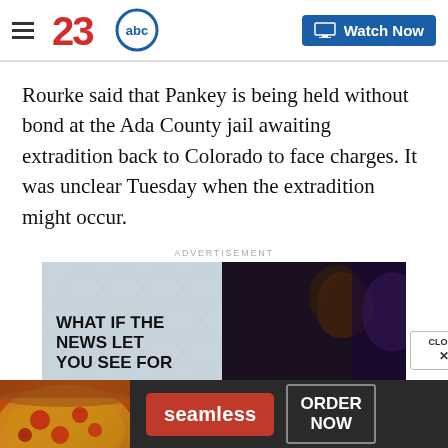[Figure (logo): 23abc news logo with red '23' and blue-outlined 'abc' circle, hamburger menu icon on left, 'Watch Now' button with monitor icon on right]
Rourke said that Pankey is being held without bond at the Ada County jail awaiting extradition back to Colorado to face charges. It was unclear Tuesday when the extradition might occur.
ADVERTISEMENT
[Figure (photo): Advertisement image showing a woman in profile against a dark background with text 'WHAT IF THE NEWS LET YOU SEE FOR' overlaid, with a 'CLOSE x' button]
[Figure (photo): Bottom banner advertisement for Seamless food delivery showing pizza, 'seamless' logo in red, and 'ORDER NOW' button]